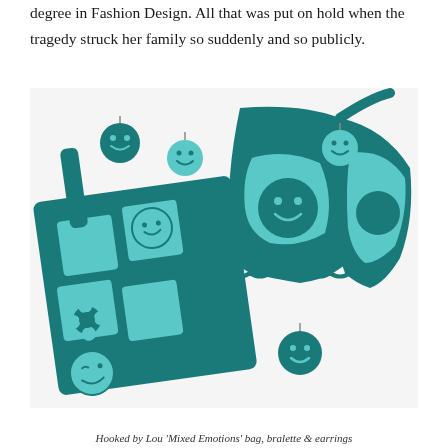degree in Fashion Design. All that was put on hold when the tragedy struck her family so suddenly and so publicly.
[Figure (photo): A flat-lay photograph of teal/turquoise crochet items including a granny-square tote bag with smiley faces, flowers, and a heart motif; a bralette top with scalloped edges and smiley face patches; and multiple round earrings featuring smiley faces.]
Hooked by Lou 'Mixed Emotions' bag, bralette & earrings